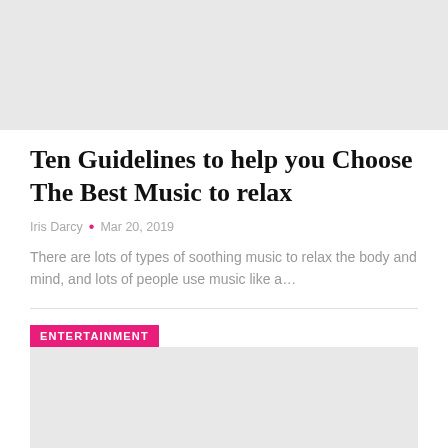[Figure (photo): Gray placeholder image at top of page]
Ten Guidelines to help you Choose The Best Music to relax
Iris Darcy • Mar 20, 2019
There are lots of types of soothing music to relax the body and mind, and lots of people use music like a…
ENTERTAINMENT
[Figure (photo): Gray placeholder image for entertainment article]